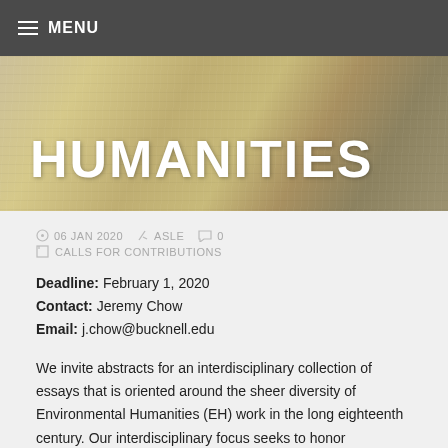≡ MENU
HUMANITIES
06 JAN 2020  ASLE  0  CALLS FOR CONTRIBUTIONS
Deadline: February 1, 2020
Contact: Jeremy Chow
Email: j.chow@bucknell.edu
We invite abstracts for an interdisciplinary collection of essays that is oriented around the sheer diversity of Environmental Humanities (EH) work in the long eighteenth century. Our interdisciplinary focus seeks to honor